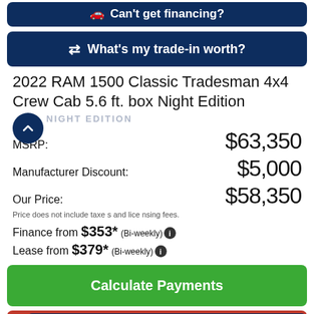Can I get financing?
What's my trade-in worth?
2022 RAM 1500 Classic Tradesman 4x4 Crew Cab 5.6 ft. box Night Edition
NIGHT EDITION
| Label | Price |
| --- | --- |
| MSRP: | $63,350 |
| Manufacturer Discount: | $5,000 |
| Our Price: | $58,350 |
Price does not include taxes and licensing fees.
Finance from $353* (Bi-weekly)
Lease from $379* (Bi-weekly)
Calculate Payments
Chat with Sales